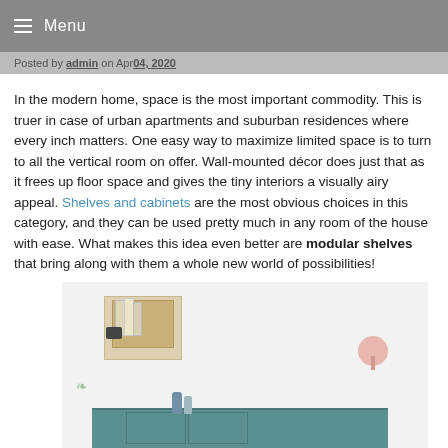☰ Menu
Posted by admin on Apr 04, 2020
In the modern home, space is the most important commodity. This is truer in case of urban apartments and suburban residences where every inch matters. One easy way to maximize limited space is to turn to all the vertical room on offer. Wall-mounted décor does just that as it frees up floor space and gives the tiny interiors a visually airy appeal. Shelves and cabinets are the most obvious choices in this category, and they can be used pretty much in any room of the house with ease. What makes this idea even better are modular shelves that bring along with them a whole new world of possibilities!
[Figure (photo): Interior photo showing a wall-mounted wooden shelf box with books and a camera, a pink round wall lamp, a teal wall-mounted cabinet with blue vases, and dried flowers on top.]